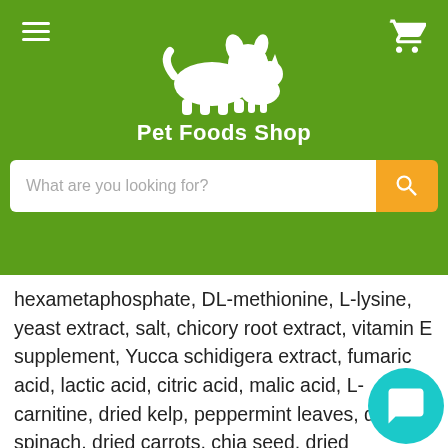[Figure (logo): Pet Foods Shop logo with white dog and cat silhouettes on green background, with text 'Pet Foods Shop']
What are you looking for?
hexametaphosphate, DL-methionine, L-lysine, yeast extract, salt, chicory root extract, vitamin E supplement, Yucca schidigera extract, fumaric acid, lactic acid, citric acid, malic acid, L-carnitine, dried kelp, peppermint leaves, dried spinach, dried carrots, chia seed, dried pomegranate, dried blueberries, dried cranberries, dried apples, dried blackberries, dried broccoli, quinoa, dried pumpkin, dried avocado, dried kale, green tea extract, dried parsley, rosemary extract, thyme extract, carob bean, paprika, ginger, chamomile, turmeric, aloe vera concentrate, ferrous sulfate, zinc oxide, zinc proteinate, ascorbic acid (vitamin C), niacin, iron proteinate, manganous